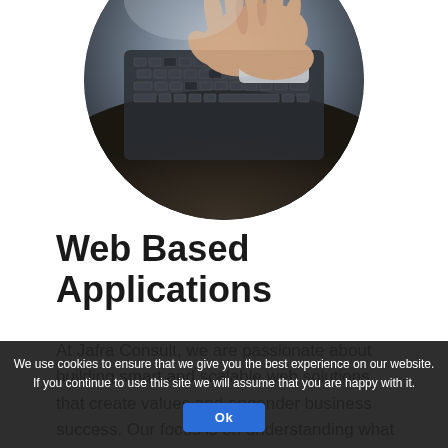[Figure (photo): Circular cropped photo of hands typing on a laptop keyboard, shot from above at an angle, on a dark surface]
Web Based Applications
At Jafra Consult, we are passionate about building smart and scalable web solutions that create values and engender business success. Our focus is on understanding what is required to deliver the range end-to-end solutions that meet different business
We use cookies to ensure that we give you the best experience on our website. If you continue to use this site we will assume that you are happy with it.